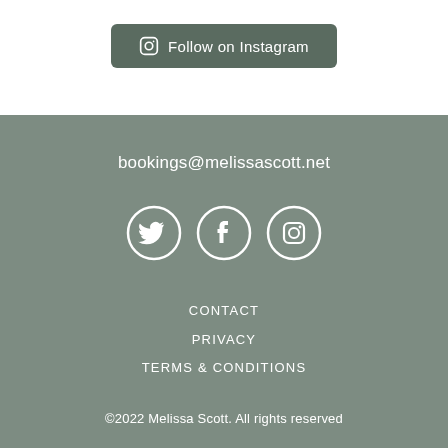Follow on Instagram
bookings@melissascott.net
[Figure (illustration): Three social media icon circles (Twitter, Facebook, Instagram) with white outlines on sage green background]
CONTACT
PRIVACY
TERMS & CONDITIONS
©2022 Melissa Scott. All rights reserved